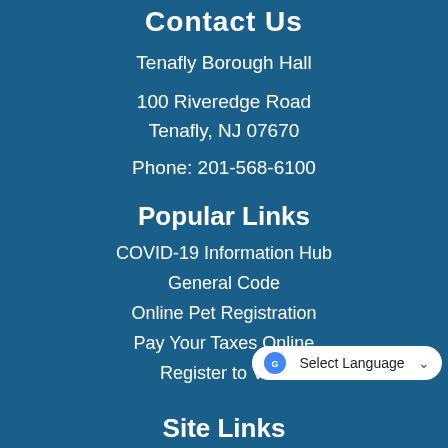Contact Us
Tenafly Borough Hall
100 Riveredge Road
Tenafly, NJ 07670
Phone: 201-568-6100
Popular Links
COVID-19 Information Hub
General Code
Online Pet Registration
Pay Your Taxes Online
Register to Vote
[Figure (screenshot): Google Translate 'Select Language' dropdown widget]
Site Links